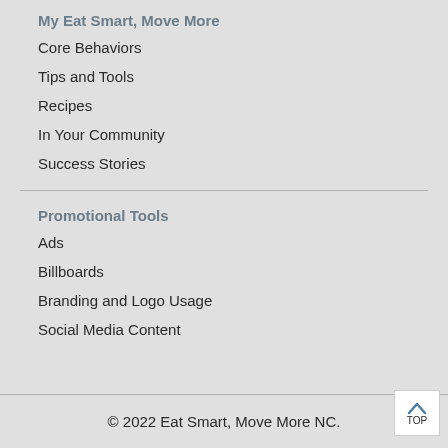My Eat Smart, Move More
Core Behaviors
Tips and Tools
Recipes
In Your Community
Success Stories
Promotional Tools
Ads
Billboards
Branding and Logo Usage
Social Media Content
© 2022 Eat Smart, Move More NC.